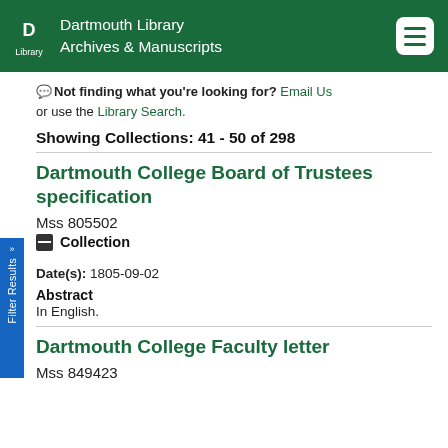Dartmouth Library Archives & Manuscripts
Not finding what you're looking for? Email Us or use the Library Search.
Showing Collections: 41 - 50 of 298
Dartmouth College Board of Trustees specification
Mss 805502
Collection
Date(s): 1805-09-02
Abstract
In English.
Dartmouth College Faculty letter
Mss 849423